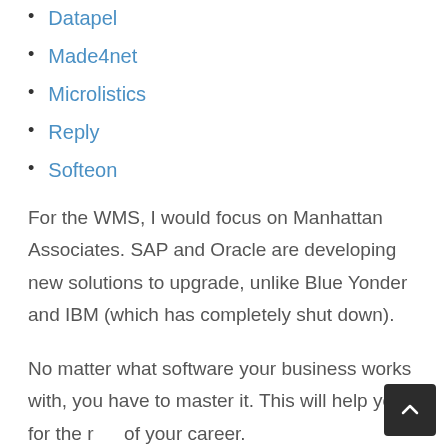Datapel
Made4net
Microlistics
Reply
Softeon
For the WMS, I would focus on Manhattan Associates. SAP and Oracle are developing new solutions to upgrade, unlike Blue Yonder and IBM (which has completely shut down).
No matter what software your business works with, you have to master it. This will help you for the rest of your career.